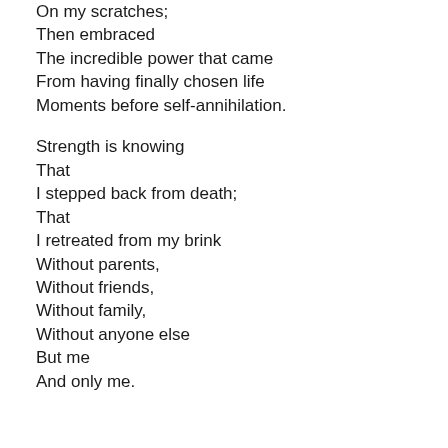On my scratches;
Then embraced
The incredible power that came
From having finally chosen life
Moments before self-annihilation.

Strength is knowing
That
I stepped back from death;
That
I retreated from my brink
Without parents,
Without friends,
Without family,
Without anyone else
But me
And only me.